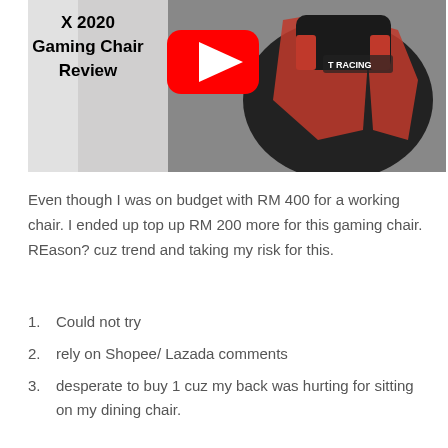[Figure (screenshot): YouTube video thumbnail showing a TRacing gaming chair (black and red) with overlaid text 'X 2020 Gaming Chair Review' and a YouTube play button in the center.]
Even though I was on budget with RM 400 for a working chair. I ended up top up RM 200 more for this gaming chair. REason? cuz trend and taking my risk for this.
Could not try
rely on Shopee/ Lazada comments
desperate to buy 1 cuz my back was hurting for sitting on my dining chair.